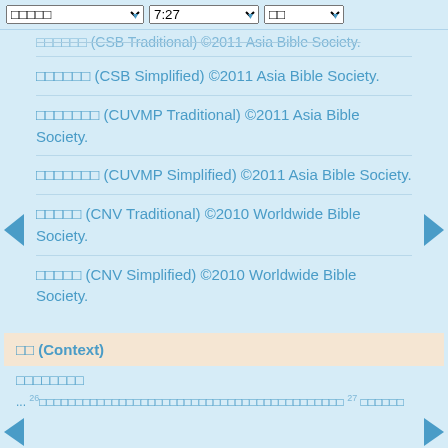▾ 7:27 ▾ □□ ▾
□□□□□□ (CSB Traditional) ©2011 Asia Bible Society.
□□□□□□ (CSB Simplified) ©2011 Asia Bible Society.
□□□□□□□ (CUVMP Traditional) ©2011 Asia Bible Society.
□□□□□□□ (CUVMP Simplified) ©2011 Asia Bible Society.
□□□□□ (CNV Traditional) ©2010 Worldwide Bible Society.
□□□□□ (CNV Simplified) ©2010 Worldwide Bible Society.
□□ (Context)
□□□□□□□□
... 26 □□□□□□□□□□□□□□□□□□□□□□□□□□□□□□□□□□□□□□□□□□ 27 □□□□□□